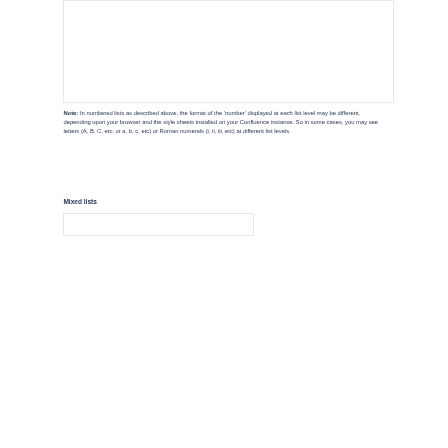[Figure (screenshot): White rectangular box with border, representing a screenshot or image placeholder at the top of the page.]
Note: In numbered lists as described above, the format of the 'number' displayed at each list level may be different, depending upon your browser and the style sheets installed on your Confluence instance. So in some cases, you may see letters (A, B, C, etc; or a, b, c, etc) or Roman numerals (i, ii, iii, etc) at different list levels.
Mixed lists
[Figure (screenshot): White rectangular box with border at the bottom of the page, representing a screenshot or image placeholder.]